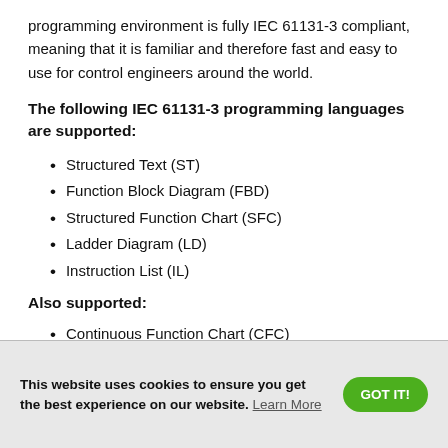programming environment is fully IEC 61131-3 compliant, meaning that it is familiar and therefore fast and easy to use for control engineers around the world.
The following IEC 61131-3 programming languages are supported:
Structured Text (ST)
Function Block Diagram (FBD)
Structured Function Chart (SFC)
Ladder Diagram (LD)
Instruction List (IL)
Also supported:
Continuous Function Chart (CFC)
This website uses cookies to ensure you get the best experience on our website. Learn More